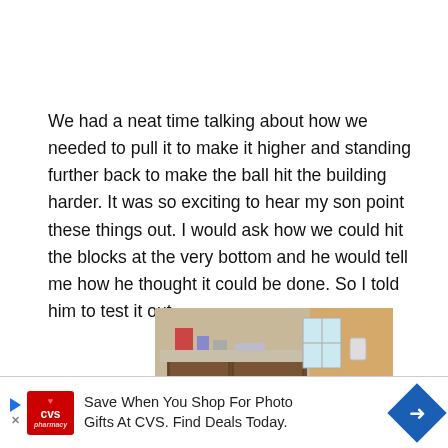We had a neat time talking about how we needed to pull it to make it higher and standing further back to make the ball hit the building harder. It was so exciting to hear my son point these things out. I would ask how we could hit the blocks at the very bottom and he would tell me how he thought it could be done. So I told him to test it out.
[Figure (photo): Photo of a bathroom/kitchen area showing dark wood cabinets under a counter with items on top, a window on the right side, and yellow/orange walls]
Save When You Shop For Photo Gifts At CVS. Find Deals Today.